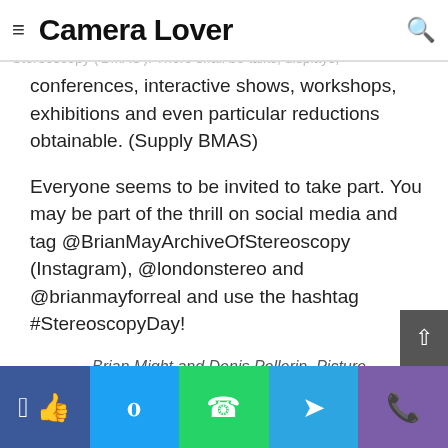Camera Lover
organizations and websites. You'll find a list on the principle ... by the Brian Might Archive of Stereoscopy ('BMAS'). There shall be talks, displays,
conferences, interactive shows, workshops, exhibitions and even particular reductions obtainable. (Supply BMAS)
Everyone seems to be invited to take part. You may be part of the thrill on social media and tag @BrianMayArchiveOfStereoscopy (Instagram), @londonstereo and @brianmayforreal and use the hashtag #StereoscopyDay!
Brian Might and Denis Pellerin, Picture courtesy of the Brian Might Archive of Stereoscopy
So what's stereoscopy precisely? and the place did it come